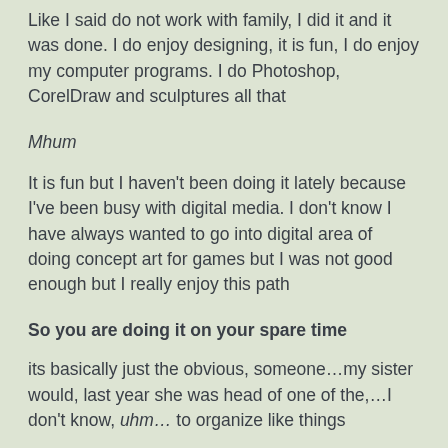Like I said do not work with family, I did it and it was done. I do enjoy designing, it is fun, I do enjoy my computer programs. I do Photoshop, CorelDraw and sculptures all that
Mhum
It is fun but I haven't been doing it lately because I've been busy with digital media. I don't know I have always wanted to go into digital area of doing concept art for games but I was not good enough but I really enjoy this path
So you are doing it on your spare time
its basically just the obvious, someone…my sister would, last year she was head of one of the,…I don't know, uhm… to organize like things